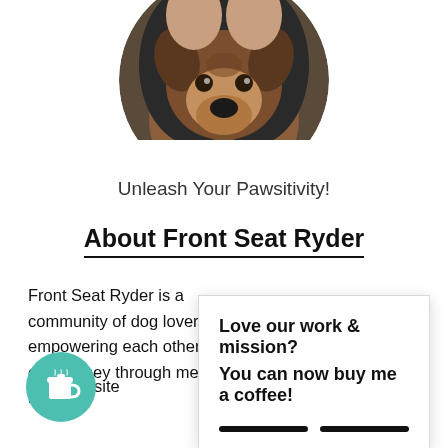[Figure (photo): Circular profile photo of a person with a dog (brown/black dog, possibly a German Shepherd mix), cropped in a circle at the top center of the page.]
Unleash Your Pawsitivity!
About Front Seat Ryder
Front Seat Ryder is a community of dog lovers empowering each other on our journey through mental hea
This website  nce. We'll  you  you wish.
[Figure (other): Popup/tooltip overlay with bold text: 'Love our work & mission? You can now buy me a coffee!' with two black bar buttons at the bottom.]
[Figure (other): Teal circular coffee cup icon button in the bottom-left corner.]